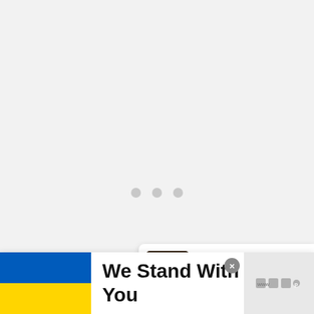[Figure (screenshot): Loading indicator with three grey dots centered on light grey background]
[Figure (screenshot): Floating action panel on right side with teal heart button showing 6K likes and share button below]
[Figure (screenshot): What's Next panel showing Frozen Oreo Ice Cream... with thumbnail image]
[Figure (screenshot): Banner at bottom: Ukraine flag on left, bold text 'We Stand With You', close X button, and logo on right]